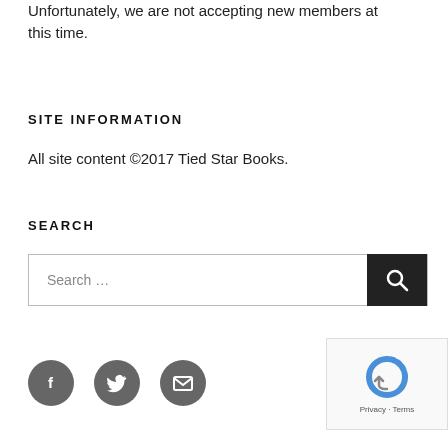Unfortunately, we are not accepting new members at this time.
SITE INFORMATION
All site content ©2017 Tied Star Books.
SEARCH
[Figure (screenshot): Search input box with 'Search …' placeholder text and a dark search button with a magnifying glass icon]
[Figure (infographic): Three circular social media icon buttons: Facebook (f), Twitter (bird), and Email (envelope), all in dark grey]
[Figure (other): reCAPTCHA widget with Privacy and Terms links]